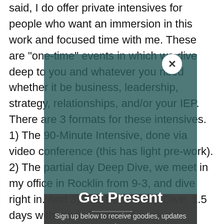said, I do offer private intensives for people who want an immersion in this work and focused time with me. These are "one-time" events in which we dive deep to you and whatever you need whether it be business, leadership, strategy, relationships, and/or your IEP. There are 3 formats for these intensives. 1) The 90-Minute Intensive, done via video conference (this has light pre-work). 2) The partial day Deep Dive, we meet in my office in Rocklin from 9-3, and dive right in. And 3) The Deep Deep Dive, 1.5 days with me in Rocklin to work on whatever you need. This is a common option for business partners and executives who want a fully holistic approach and have several things to work on. The live events in my office have a prep-call and post-call(s) to help prepare and integrate.
Get Present
Sign up below to receive goodies, updates and more.